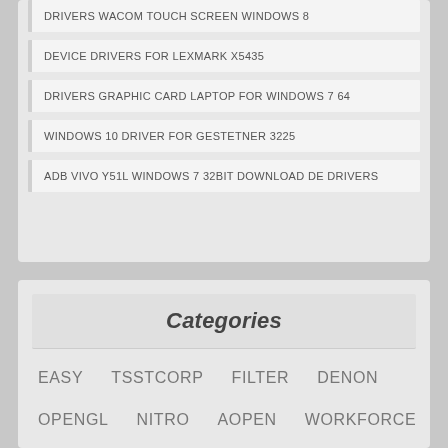DRIVERS WACOM TOUCH SCREEN WINDOWS 8
DEVICE DRIVERS FOR LEXMARK X5435
DRIVERS GRAPHIC CARD LAPTOP FOR WINDOWS 7 64
WINDOWS 10 DRIVER FOR GESTETNER 3225
ADB VIVO Y51L WINDOWS 7 32BIT DOWNLOAD DE DRIVERS
Categories
EASY   TSSTCORP   FILTER   DENON
OPENGL   NITRO   AOPEN   WORKFORCE
VIVOBOOK   WEBCAM   IOGEAR   ZOTAC